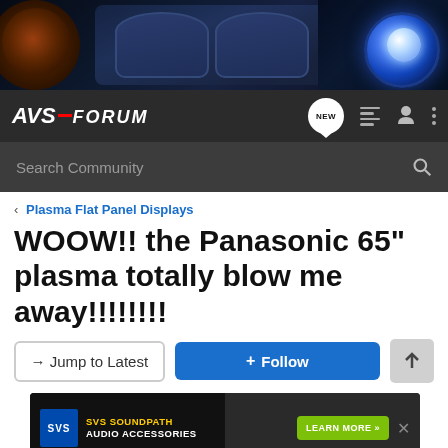[Figure (photo): AVS Forum website header banner showing home theater equipment: speaker, luxury seats, and projector on dark blue background]
AVS FORUM
Search Community
< Plasma Flat Panel Displays
WOOW!! the Panasonic 65" plasma totally blow me away!!!!!!!!
→ Jump to Latest
+ Follow
[Figure (screenshot): SVS SoundPath Audio Accessories advertisement banner with yellow text on black background and Learn More button]